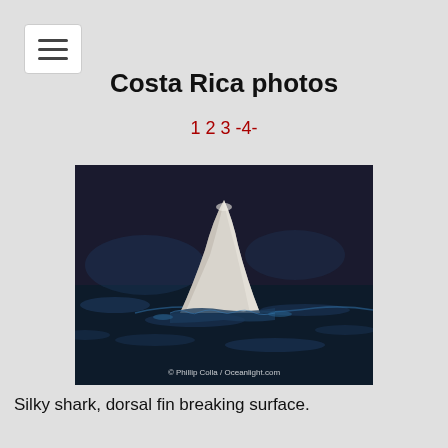☰ (menu button)
Costa Rica photos
1 2 3 -4-
[Figure (photo): Silky shark dorsal fin breaking the surface of dark ocean water. Watermark reads: © Phillip Colla / Oceanlight.com]
Silky shark, dorsal fin breaking surface.